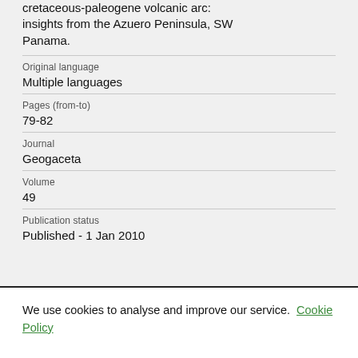cretaceous-paleogene volcanic arc: insights from the Azuero Peninsula, SW Panama.
| Original language | Multiple languages |
| Pages (from-to) | 79-82 |
| Journal | Geogaceta |
| Volume | 49 |
| Publication status | Published - 1 Jan 2010 |
We use cookies to analyse and improve our service. Cookie Policy